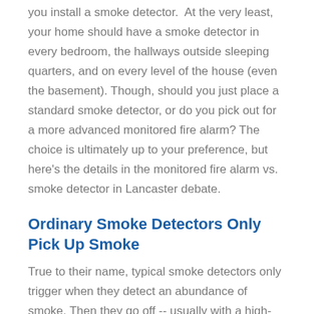you install a smoke detector. At the very least, your home should have a smoke detector in every bedroom, the hallways outside sleeping quarters, and on every level of the house (even the basement). Though, should you just place a standard smoke detector, or do you pick out for a more advanced monitored fire alarm? The choice is ultimately up to your preference, but here's the details in the monitored fire alarm vs. smoke detector in Lancaster debate.
Ordinary Smoke Detectors Only Pick Up Smoke
True to their name, typical smoke detectors only trigger when they detect an abundance of smoke. Then they go off -- usually with a high-decibel beeping -- until you re-arm the alarm. Naturally